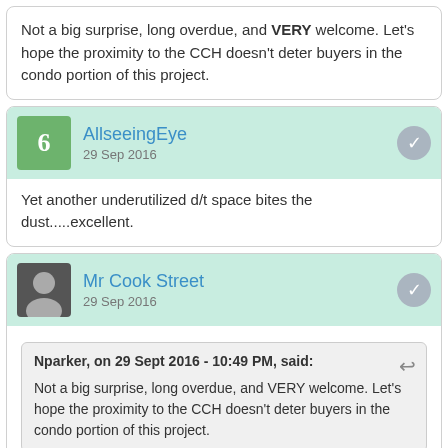Not a big surprise, long overdue, and VERY welcome. Let's hope the proximity to the CCH doesn't deter buyers in the condo portion of this project.
AllseeingEye
29 Sep 2016
Yet another underutilized d/t space bites the dust.....excellent.
Mr Cook Street
29 Sep 2016
Nparker, on 29 Sept 2016 - 10:49 PM, said:
Not a big surprise, long overdue, and VERY welcome. Let's hope the proximity to the CCH doesn't deter buyers in the condo portion of this project.
Condos are on Yates, and are buffered by the rental building. Shouldn't hinder sales. At the same time, rentals are in short supply, and I'm sure they'll all get snapped up immediately as well. Win win.
Nparker